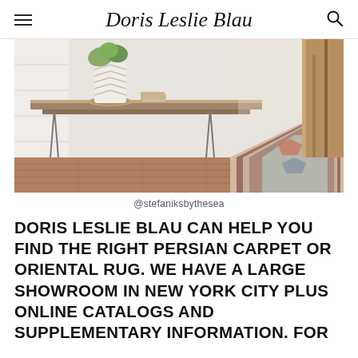Doris Leslie Blau
[Figure (photo): A rustic wooden console table with a white patterned vase holding a plant, sitting on a circular wooden coaster, positioned next to a hallway with a Persian/Oriental runner rug on hardwood floors and a staircase railing visible on the right.]
@stefaniksbythesea
DORIS LESLIE BLAU CAN HELP YOU FIND THE RIGHT PERSIAN CARPET OR ORIENTAL RUG. WE HAVE A LARGE SHOWROOM IN NEW YORK CITY PLUS ONLINE CATALOGS AND SUPPLEMENTARY INFORMATION. FOR